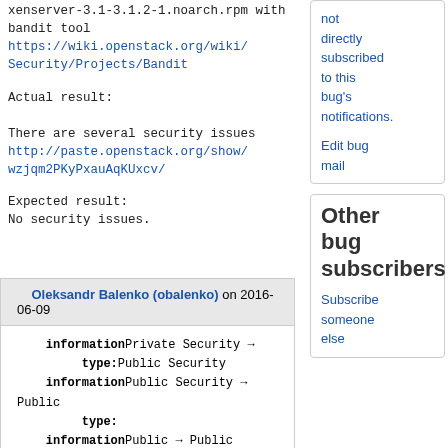xenserver-3.1-3.1.2-1.noarch.rpm with bandit tool
https://wiki.openstack.org/wiki/Security/Projects/Bandit
Actual result:

There are several security issues
http://paste.openstack.org/show/wzjqm2PKyPxauAqKUxcv/
Expected result:
No security issues.
not directly subscribed to this bug's notifications.
Edit bug mail
Other bug subscribers
Subscribe someone else
Oleksandr Balenko (obalenko) on 2016-06-09
information type:Private Security → Public Security
information type:Public Security → Public
information type:Public → Public Security type: